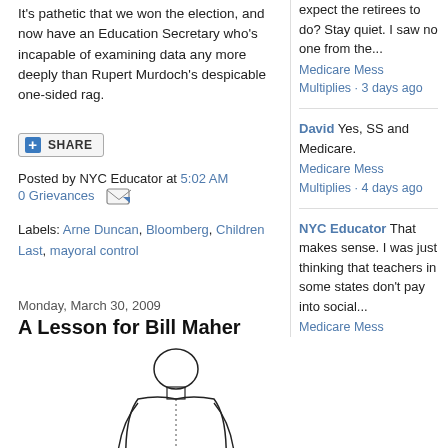It's pathetic that we won the election, and now have an Education Secretary who's incapable of examining data any more deeply than Rupert Murdoch's despicable one-sided rag.
Posted by NYC Educator at 5:02 AM
0 Grievances
Labels: Arne Duncan, Bloomberg, Children Last, mayoral control
Monday, March 30, 2009
A Lesson for Bill Maher
[Figure (illustration): Human body diagram showing outline of person from behind with 'ELBOW' label and line pointing to elbow area]
expect the retirees to do? Stay quiet. I saw no one from the...
Medicare Mess Multiplies · 3 days ago
David Yes, SS and Medicare.
Medicare Mess Multiplies · 4 days ago
NYC Educator That makes sense. I was just thinking that teachers in some states don't pay into social...
Medicare Mess